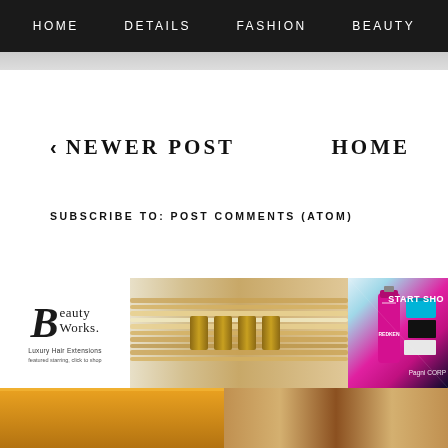HOME   DETAILS   FASHION   BEAUTY
‹ NEWER POST
HOME
SUBSCRIBE TO: POST COMMENTS (ATOM)
[Figure (photo): Beauty Works luxury hair extensions advertisement banner showing logo, hair extensions, and beauty products]
[Figure (photo): Bottom strip showing thumbnail images]